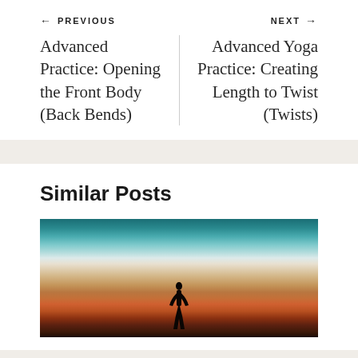← PREVIOUS
NEXT →
Advanced Practice: Opening the Front Body (Back Bends)
Advanced Yoga Practice: Creating Length to Twist (Twists)
Similar Posts
[Figure (photo): Silhouette of a person in yoga pose against a dramatic sunset sky with teal, orange, and dark gradient colors]